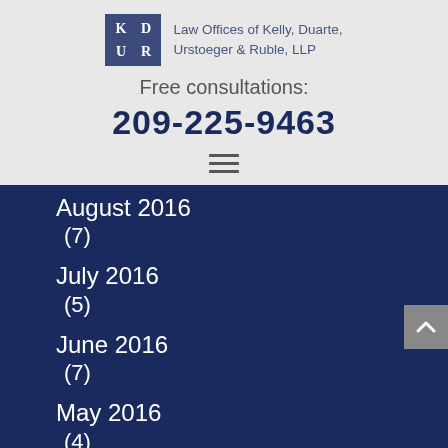[Figure (logo): KD UR logo box with law firm name: Law Offices of Kelly, Duarte, Urstoeger & Ruble, LLP]
Free consultations:
209-225-9463
[Figure (other): Hamburger menu icon (three horizontal lines)]
August 2016 (7)
July 2016 (5)
June 2016 (7)
May 2016 (4)